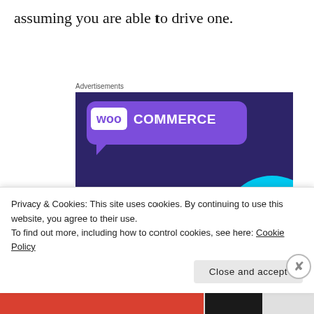assuming you are able to drive one.
Advertisements
[Figure (illustration): WooCommerce advertisement banner with dark purple background, purple speech bubble logo, teal triangle shape, cyan circle, tagline 'Turn your hobby into a business in 8 steps', and a 'Start a new store' button.]
Privacy & Cookies: This site uses cookies. By continuing to use this website, you agree to their use.
To find out more, including how to control cookies, see here: Cookie Policy
Close and accept